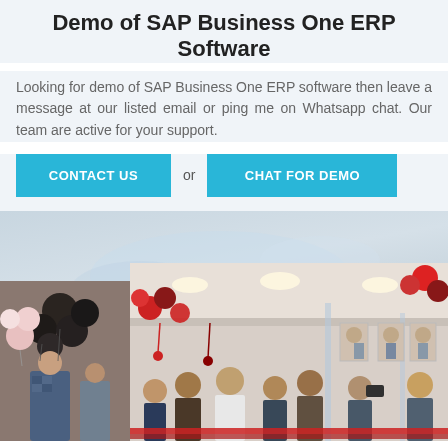Demo of SAP Business One ERP Software
Looking for demo of SAP Business One ERP software then leave a message at our listed email or ping me on Whatsapp chat. Our team are active for your support.
CONTACT US or CHAT FOR DEMO
[Figure (photo): Event/office inauguration photos: left panel shows people standing near black and white balloons, right main panel shows interior of decorated office/showroom with red and black balloons, people gathered, and a ribbon-cutting ceremony in progress.]